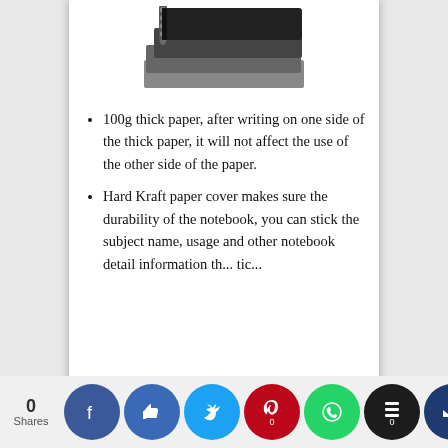[Figure (photo): Stack of spiral-bound black notebooks with dark covers, viewed from above at an angle]
100g thick paper, after writing on one side of the thick paper, it will not affect the use of the other side of the paper.
Hard Kraft paper cover makes sure the durability of the notebook, you can stick the subject name, usage and other notebook detail information th... tic...